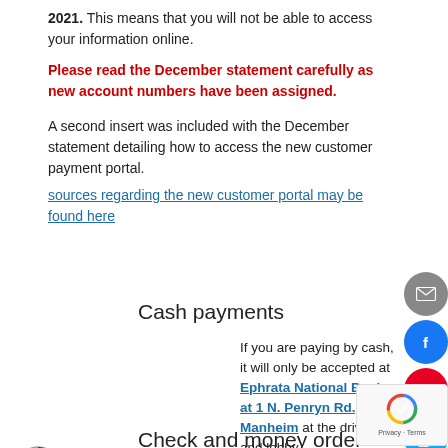2021. This means that you will not be able to access your information online.
Please read the December statement carefully as new account numbers have been assigned.
A second insert was included with the December statement detailing how to access the new customer payment portal.
sources regarding the new customer portal may be found here
Cash payments
If you are paying by cash, it will only be accepted at Ephrata National Bank at 1 N. Penryn Rd., Manheim at the drive up and lobby.
Check and money order payments